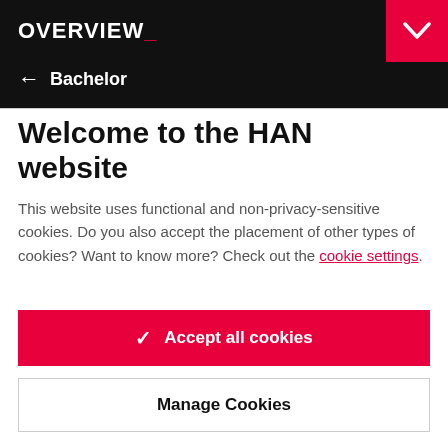OVERVIEW_
← Bachelor
Welcome to the HAN website
This website uses functional and non-privacy-sensitive cookies. Do you also accept the placement of other types of cookies? Want to know more? Check out the cookie settings.
✓ Accept all cookies
Manage Cookies